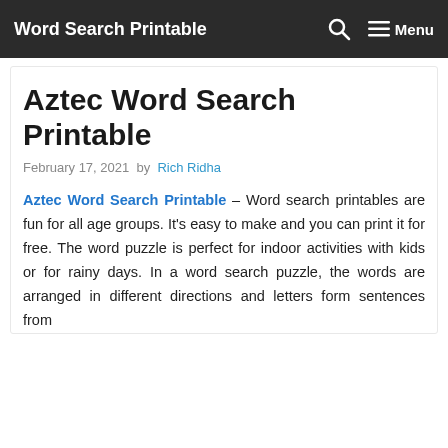Word Search Printable  Menu
Aztec Word Search Printable
February 17, 2021 by Rich Ridha
Aztec Word Search Printable – Word search printables are fun for all age groups. It's easy to make and you can print it for free. The word puzzle is perfect for indoor activities with kids or for rainy days. In a word search puzzle, the words are arranged in different directions and letters form sentences from